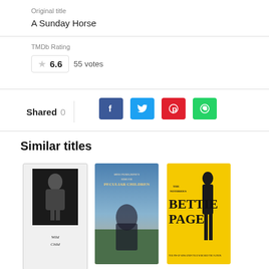Original title
A Sunday Horse
TMDb Rating
6.6  55 votes
Shared  0
[Figure (other): Social share buttons: Facebook, Twitter, Pinterest, WhatsApp]
Similar titles
[Figure (photo): Movie poster for an unidentified film with black and white photo of a man]
[Figure (photo): Movie poster for Miss Peregrine's Home for Peculiar Children]
[Figure (photo): Movie poster for The Notorious Bettie Page on yellow background]